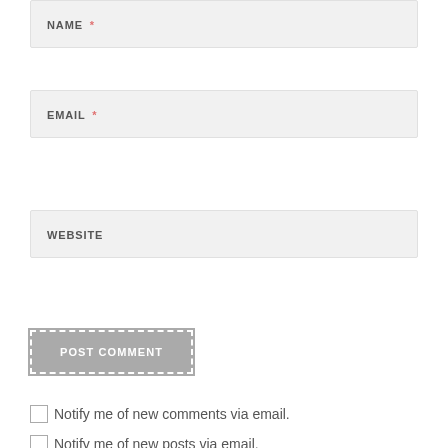NAME *
EMAIL *
WEBSITE
POST COMMENT
Notify me of new comments via email.
Notify me of new posts via email.
[Figure (illustration): Circular icon at the bottom of the page, gray colored, partially visible]